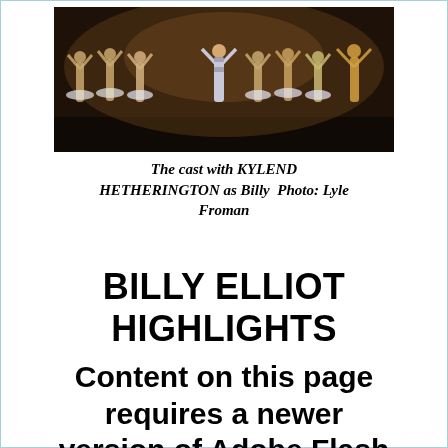[Figure (photo): Cast photo from Billy Elliot musical showing performers on stage with arms raised, ballet dancers in tutus, and a boy in the center]
The cast with KYLEND HETHERINGTON as Billy  Photo: Lyle Froman
BILLY ELLIOT HIGHLIGHTS
Content on this page requires a newer version of Adobe Flash